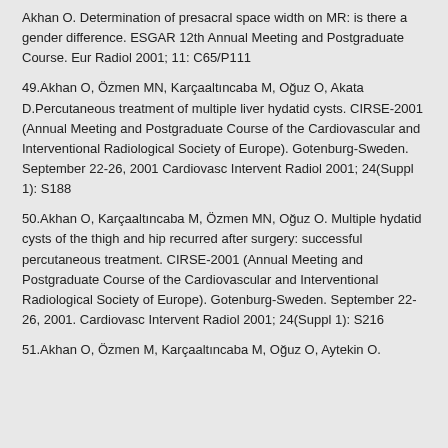Akhan O. Determination of presacral space width on MR: is there a gender difference. ESGAR 12th Annual Meeting and Postgraduate Course. Eur Radiol 2001; 11: C65/P111
49.Akhan O, Özmen MN, Karçaaltıncaba M, Oğuz O, Akata D.Percutaneous treatment of multiple liver hydatid cysts. CIRSE-2001 (Annual Meeting and Postgraduate Course of the Cardiovascular and Interventional Radiological Society of Europe). Gotenburg-Sweden. September 22-26, 2001 Cardiovasc Intervent Radiol 2001; 24(Suppl 1): S188
50.Akhan O, Karçaaltıncaba M, Özmen MN, Oğuz O. Multiple hydatid cysts of the thigh and hip recurred after surgery: successful percutaneous treatment. CIRSE-2001 (Annual Meeting and Postgraduate Course of the Cardiovascular and Interventional Radiological Society of Europe). Gotenburg-Sweden. September 22-26, 2001. Cardiovasc Intervent Radiol 2001; 24(Suppl 1): S216
51.Akhan O, Özmen M, Karçaaltıncaba M, Oğuz O, Aytekin O.